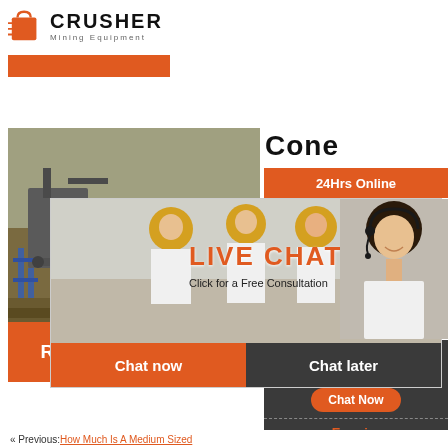[Figure (logo): Crusher Mining Equipment logo with red shopping bag icon and bold CRUSHER text]
[Figure (photo): Orange navigation bar button]
Cone
[Figure (photo): Construction site with heavy machinery and mining equipment]
[Figure (infographic): Live Chat overlay with workers in hard hats background, LIVE CHAT title in orange, Click for a Free Consultation subtitle, Chat now and Chat later buttons, close button, and customer service woman with headset]
24Hrs Online
LIVE CHAT
Click for a Free Consultation
Chat now
Chat later
[Figure (photo): Customer service woman with headset smiling]
Read More
Need questions & suggestion?
Chat Now
Enquiry
limingjlmofen@sina.com
« Previous:How Much Is A Medium Sized